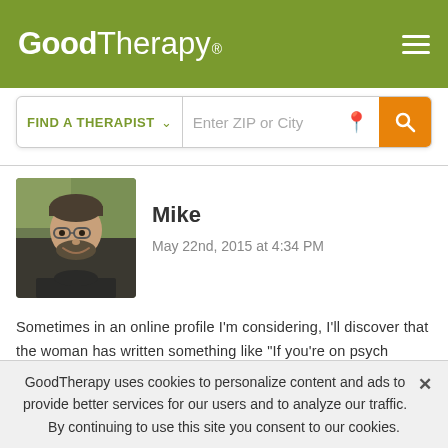GoodTherapy®
FIND A THERAPIST  ∨   Enter ZIP or City
[Figure (photo): Profile photo of Mike, a man with glasses and a beard, smiling outdoors]
Mike
May 22nd, 2015 at 4:34 PM
Sometimes in an online profile I'm considering, I'll discover that the woman has written something like "If you're on psych meds, don't bother contacting me." That always hurts even though I don't even know the person, but of course they aren't a match anyway if they write something as callous as that.
GoodTherapy uses cookies to personalize content and ads to provide better services for our users and to analyze our traffic. By continuing to use this site you consent to our cookies.